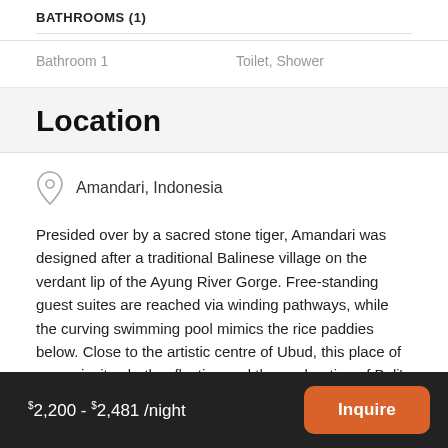BATHROOMS (1)
| Bathroom 1 | Toilet, Shower |
Location
Amandari, Indonesia
Presided over by a sacred stone tiger, Amandari was designed after a traditional Balinese village on the verdant lip of the Ayung River Gorge. Free-standing guest suites are reached via winding pathways, while the curving swimming pool mimics the rice paddies below. Close to the artistic centre of Ubud, this place of peace invites both reflection and the exploration of Bali's cultural heart.
$2,200 - $2,481 /night   Inquire